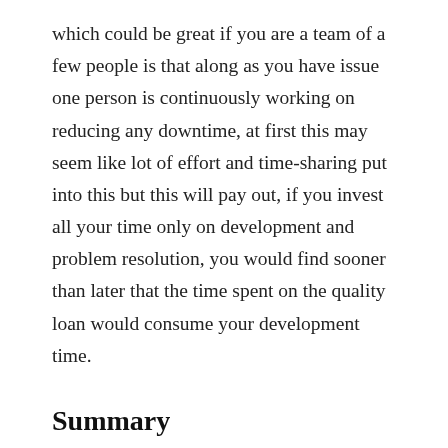which could be great if you are a team of a few people is that along as you have issue one person is continuously working on reducing any downtime, at first this may seem like lot of effort and time-sharing put into this but this will pay out, if you invest all your time only on development and problem resolution, you would find sooner than later that the time spent on the quality loan would consume your development time.
Summary
Troubleshooting problems as OnCall is not simply